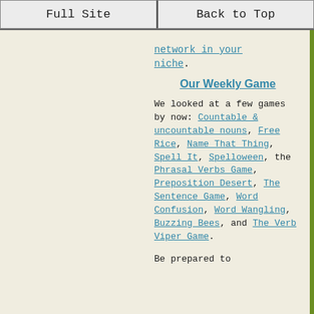Full Site | Back to Top
network in your niche.
Our Weekly Game
We looked at a few games by now: Countable & uncountable nouns, Free Rice, Name That Thing, Spell It, Spelloween, the Phrasal Verbs Game, Preposition Desert, The Sentence Game, Word Confusion, Word Wangling, Buzzing Bees, and The Verb Viper Game.
Be prepared to